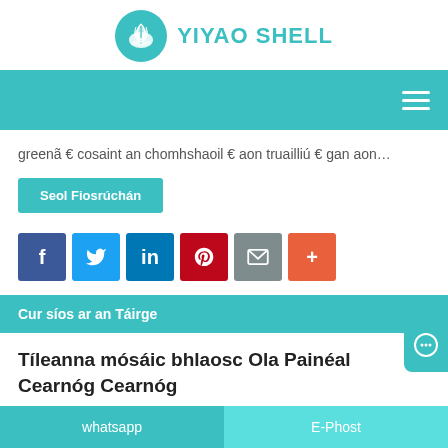YIYAO SHELL
[Figure (logo): Yiyao Shell logo with teal circle containing shell icon and teal text YIYAO SHELL]
greenã € cosaint an chomhshaoil € aon truailliú € gan aon…
Seol Fiosrúchán
[Figure (infographic): Social share buttons: Facebook (blue), Twitter (light blue), LinkedIn (dark blue), Pinterest (red), Email (grey), More (orange-red)]
Cur síos ar an Táirge
Tíleanna mósáic bhlaosc Ola Painéal Cearnóg Cearnóg
whatsapp   E-Phost